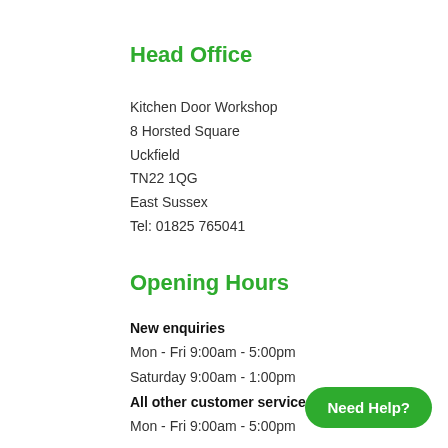Head Office
Kitchen Door Workshop
8 Horsted Square
Uckfield
TN22 1QG
East Sussex
Tel: 01825 765041
Opening Hours
New enquiries
Mon - Fri 9:00am - 5:00pm
Saturday 9:00am - 1:00pm
All other customer services
Mon - Fri 9:00am - 5:00pm
Need Help?